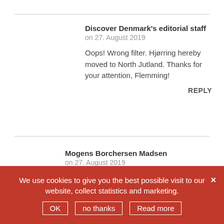Discover Denmark's editorial staff
on 27. August 2019

Oops! Wrong filter. Hjørring hereby moved to North Jutland. Thanks for your attention, Flemming!

REPLY
Mogens Borchersen Madsen
on 27. August 2019

Fydes in Odense must definitely join...
We use cookies to give you the best possible visit to our website, collect statistics and marketing.
OK   no thanks   Read more